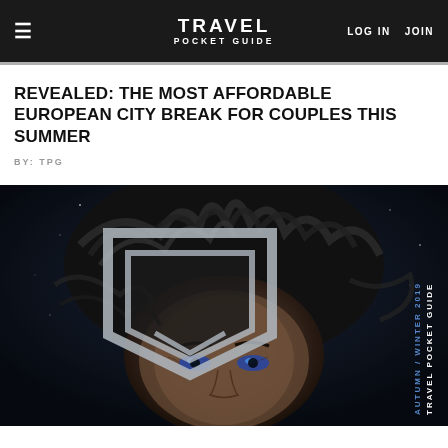≡   TRAVEL POCKET GUIDE   LOG IN   JOIN
REVEALED: THE MOST AFFORDABLE EUROPEAN CITY BREAK FOR COUPLES THIS SUMMER
BY: TPG
[Figure (photo): Magazine cover of Travel Pocket Guide Autumn/Winter 2019 showing a close-up portrait of a person with dark windswept hair against a dark starry background, with the Travel Pocket Guide shield/bookmark logo in silver on the left side]